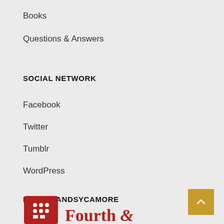Books
Questions & Answers
SOCIAL NETWORK
Facebook
Twitter
Tumblr
WordPress
FOURTHANDSYCAMORE
[Figure (logo): Fourth & Sycamore logo with red square icon containing grid dots and red serif text reading 'Fourth &']